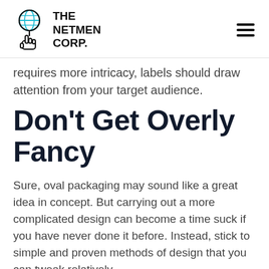[Figure (logo): The Netmen Corp logo with globe and hand icon, plus hamburger menu icon]
requires more intricacy, labels should draw attention from your target audience.
Don't Get Overly Fancy
Sure, oval packaging may sound like a great idea in concept. But carrying out a more complicated design can become a time suck if you have never done it before. Instead, stick to simple and proven methods of design that you can tweak relatively